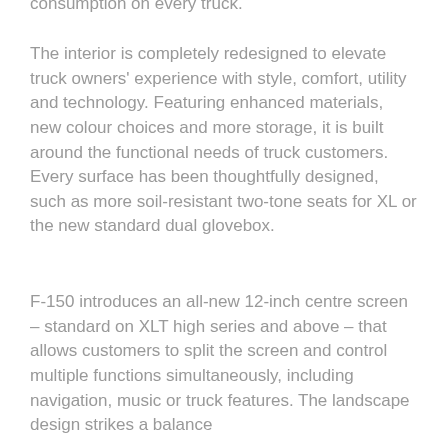consumption on every truck.
The interior is completely redesigned to elevate truck owners' experience with style, comfort, utility and technology. Featuring enhanced materials, new colour choices and more storage, it is built around the functional needs of truck customers. Every surface has been thoughtfully designed, such as more soil-resistant two-tone seats for XL or the new standard dual glovebox.
F-150 introduces an all-new 12-inch centre screen – standard on XLT high series and above – that allows customers to split the screen and control multiple functions simultaneously, including navigation, music or truck features. The landscape design strikes a balance